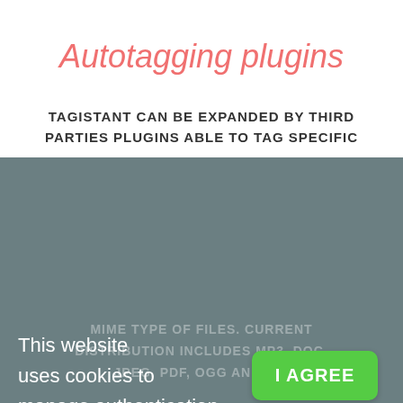Autotagging plugins
TAGISTANT CAN BE EXPANDED BY THIRD PARTIES PLUGINS ABLE TO TAG SPECIFIC
This website uses cookies to manage authentication, navigation, and other functions. By using our website, you agree that we can place these types of cookies on your device.
[Figure (screenshot): Green 'I AGREE' button for cookie consent overlay]